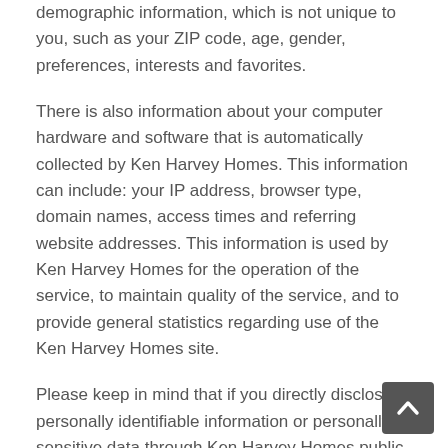demographic information, which is not unique to you, such as your ZIP code, age, gender, preferences, interests and favorites.
There is also information about your computer hardware and software that is automatically collected by Ken Harvey Homes. This information can include: your IP address, browser type, domain names, access times and referring website addresses. This information is used by Ken Harvey Homes for the operation of the service, to maintain quality of the service, and to provide general statistics regarding use of the Ken Harvey Homes site.
Please keep in mind that if you directly disclose personally identifiable information or personally sensitive data through Ken Harvey Homes public message boards, this information may be collected and used by others. Note: Ken Harvey Homes does not read any of your private online communications.
Ken Harvey Homes encourages you to review the privacy statements of Web sites you choose to link to from Ken Harvey Homes so that you can understand how those Web sites collect, use and share your information. Ken Harvey Homes is not responsible for the privacy statements or other content on Web